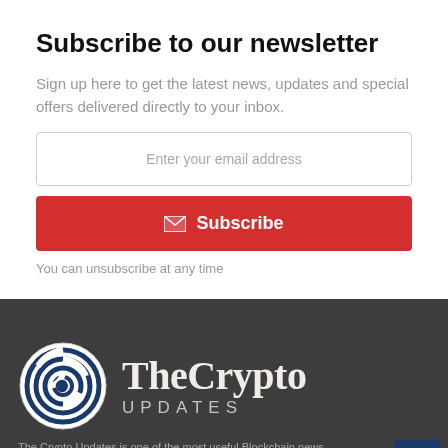Subscribe to our newsletter
Sign up here to get the latest news, updates and special offers delivered directly to your inbox.
Enter your email address
Subscribe
You can unsubscribe at any time
[Figure (logo): TheCrypto UPDATES logo with circular maze/blockchain icon in dark blue and off-white text on dark background]
The Crypto Updates is one of the most useful Blockchain news...